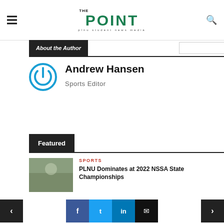THE POINT — plnu student news media
About the Author
Andrew Hansen
Sports Editor
Featured
SPORTS
PLNU Dominates at 2022 NSSA State Championships
SPORTS
PLNU Baseball's Seth Ryberg Reflects on 2022 Season
< Facebook Twitter LinkedIn Email >